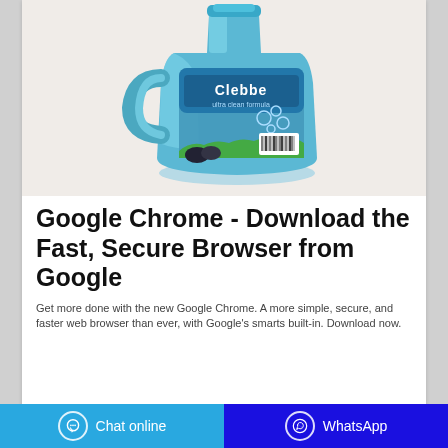[Figure (photo): A blue plastic laundry detergent jug with a handle, labeled 'Clebbe', shown against a light beige/cream background.]
Google Chrome - Download the Fast, Secure Browser from Google
Get more done with the new Google Chrome. A more simple, secure, and faster web browser than ever, with Google's smarts built-in. Download now.